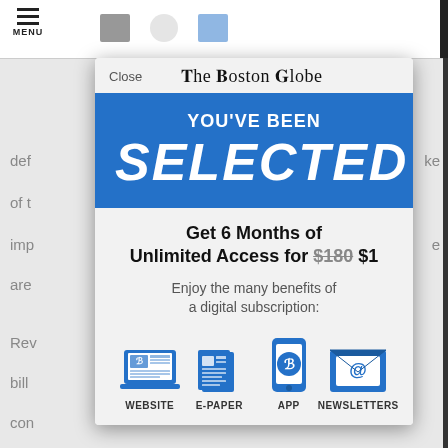[Figure (screenshot): Screenshot of The Boston Globe website with a subscription modal overlay. Background shows partial newspaper article text. Modal contains: Close button and Boston Globe logo at top; blue banner reading 'YOU'VE BEEN SELECTED'; offer text 'Get 6 Months of Unlimited Access for $180 $1'; 'Enjoy the many benefits of a digital subscription:'; four icons for WEBSITE, E-PAPER, APP, NEWSLETTERS.]